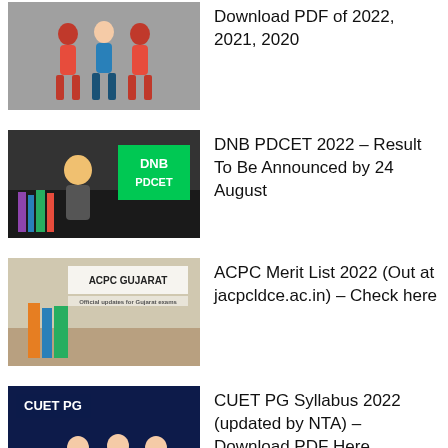Download PDF of 2022, 2021, 2020
DNB PDCET 2022 – Result To Be Announced by 24 August
ACPC Merit List 2022 (Out at jacpcldce.ac.in) – Check here
CUET PG Syllabus 2022 (updated by NTA) – Download PDF Here
Uttarakhand ANM GNM Result 2022 (Out at hnbumuexams.com) – Check Merit List, Cut Off